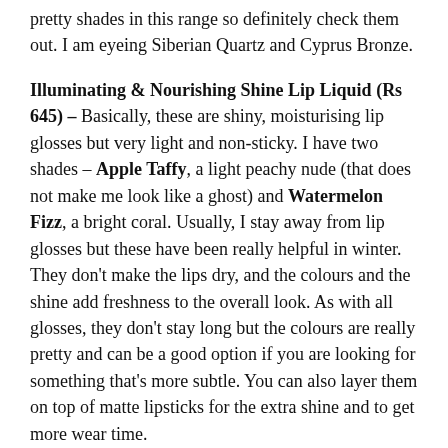pretty shades in this range so definitely check them out. I am eyeing Siberian Quartz and Cyprus Bronze.
Illuminating & Nourishing Shine Lip Liquid (Rs 645) – Basically, these are shiny, moisturising lip glosses but very light and non-sticky. I have two shades – Apple Taffy, a light peachy nude (that does not make me look like a ghost) and Watermelon Fizz, a bright coral. Usually, I stay away from lip glosses but these have been really helpful in winter. They don't make the lips dry, and the colours and the shine add freshness to the overall look. As with all glosses, they don't stay long but the colours are really pretty and can be a good option if you are looking for something that's more subtle. You can also layer them on top of matte lipsticks for the extra shine and to get more wear time.